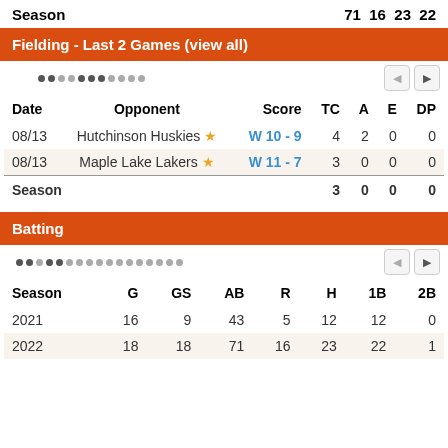Season  71  16  23  22
Fielding - Last 2 Games (view all)
| Date | Opponent | Score | TC | A | E | DP |
| --- | --- | --- | --- | --- | --- | --- |
| 08/13 | Hutchinson Huskies ★ | W 10 - 9 | 4 | 2 | 0 | 0 |
| 08/13 | Maple Lake Lakers ★ | W 11 - 7 | 3 | 0 | 0 | 0 |
| Season |  |  | 3 | 0 | 0 | 0 |
Batting
| Season | G | GS | AB | R | H | 1B | 2B |
| --- | --- | --- | --- | --- | --- | --- | --- |
| 2021 | 16 | 9 | 43 | 5 | 12 | 12 | 0 |
| 2022 | 18 | 18 | 71 | 16 | 23 | 22 | 1 |